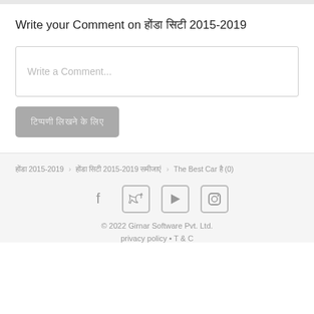Write your Comment on होंडा सिटी 2015-2019
Write a Comment...
टिप्पणी लिखने के लिए
होंडा 2015-2019 › होंडा सिटी 2015-2019 समीक्षाएं › The Best Car है (0)
[Figure (infographic): Social media icons: Facebook, Twitter, YouTube, Instagram]
© 2022 Girnar Software Pvt. Ltd.
privacy policy • T & C